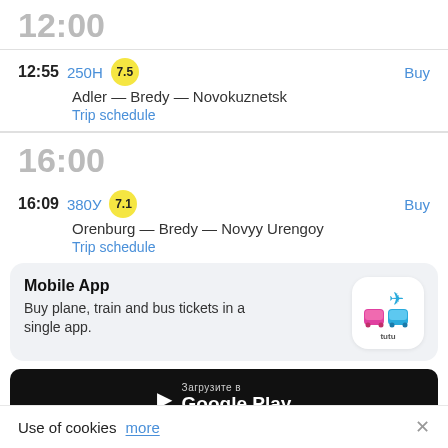12:00
12:55   250Н  7.5   Buy
Adler — Bredy — Novokuznetsk
Trip schedule
16:00
16:09   380У  7.1   Buy
Orenburg — Bredy — Novyy Urengoy
Trip schedule
[Figure (infographic): Tutu mobile app icon with plane and train symbols]
Mobile App
Buy plane, train and bus tickets in a single app.
Загрузите в Google Play
Use of cookies  more